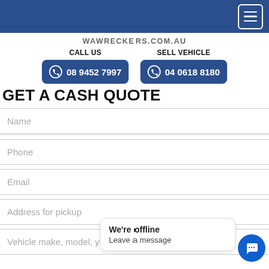WAWRECKERS.COM.AU
CALL US | 08 9452 7997
SELL VEHICLE | 04 0618 8180
GET A CASH QUOTE
Name
Phone
Email
Address for pickup
Vehicle make, model, year
We're offline
Leave a message